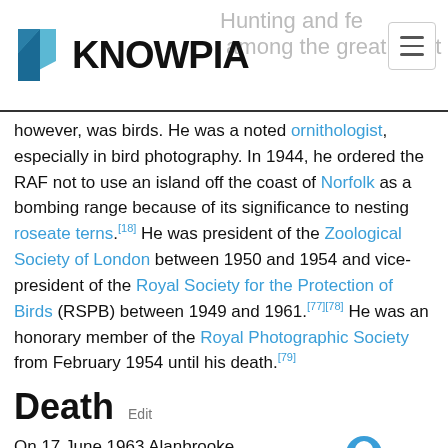KNOWPIA
however, was birds. He was a noted ornithologist, especially in bird photography. In 1944, he ordered the RAF not to use an island off the coast of Norfolk as a bombing range because of its significance to nesting roseate terns.[18] He was president of the Zoological Society of London between 1950 and 1954 and vice-president of the Royal Society for the Protection of Birds (RSPB) between 1949 and 1961.[77][78] He was an honorary member of the Royal Photographic Society from February 1954 until his death.[79]
Death
On 17 June 1963 Alanbrooke suffered a heart attack and died
Lord Alanbrooke's gravestone